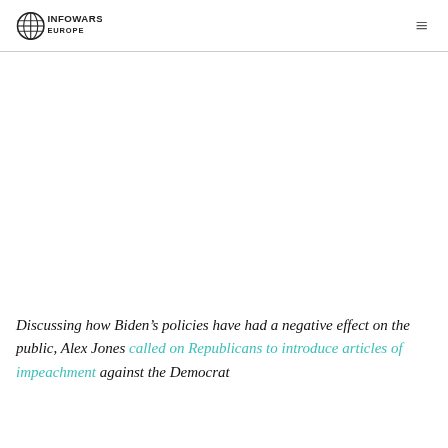INFOWARS EUROPE
[Figure (other): Empty white space placeholder for advertisement]
Discussing how Biden’s policies have had a negative effect on the public, Alex Jones called on Republicans to introduce articles of impeachment against the Democrat